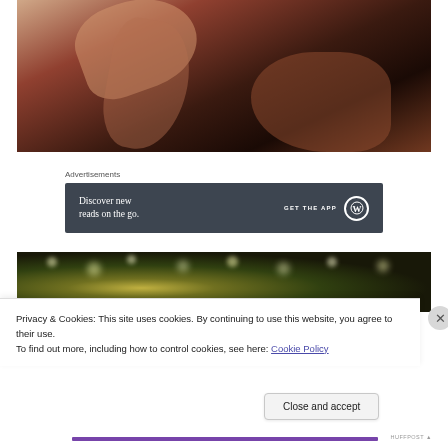[Figure (photo): Dark moody close-up photo of a person, warm tones, dark background]
Advertisements
[Figure (infographic): WordPress advertisement banner: 'Discover new reads on the go.' with 'GET THE APP' and WordPress logo on dark background]
[Figure (photo): Night scene with bokeh lights and sparkles, dark greenish tones]
Privacy & Cookies: This site uses cookies. By continuing to use this website, you agree to their use.
To find out more, including how to control cookies, see here: Cookie Policy
Close and accept